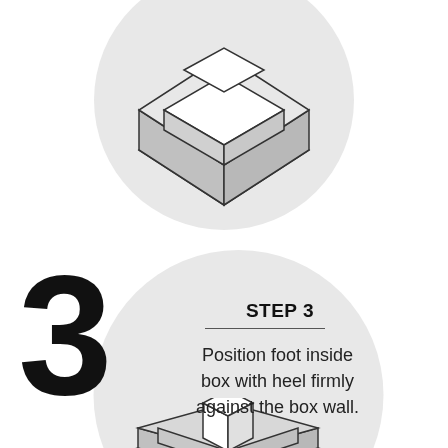[Figure (illustration): Isometric 3D illustration of an open shoe measuring box viewed from above, showing the rectangular frame with an open top, rendered in grayscale line art on a light gray circular background.]
3
STEP 3
Position foot inside box with heel firmly against the box wall.
[Figure (illustration): Isometric 3D illustration of a foot being placed inside the measuring box, showing the heel against the back wall, partially visible at the bottom of the page.]